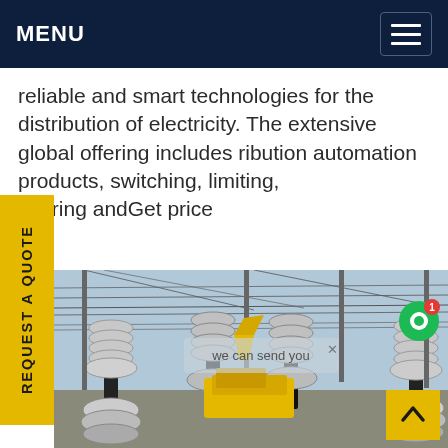MENU
reliable and smart technologies for the distribution of electricity. The extensive global offering includes ribution automation products, switching, limiting, asuring andGet price
[Figure (photo): Electrical substation with high-voltage equipment, insulators, overhead lines, and a yellow utility vehicle, with a chat overlay bubble reading 'we can send you']
REQUEST A QUOTE